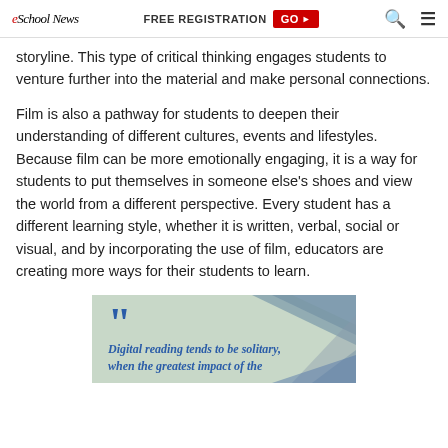eSchoolNews | FREE REGISTRATION GO ► 🔍 ≡
storyline. This type of critical thinking engages students to venture further into the material and make personal connections.
Film is also a pathway for students to deepen their understanding of different cultures, events and lifestyles. Because film can be more emotionally engaging, it is a way for students to put themselves in someone else's shoes and view the world from a different perspective. Every student has a different learning style, whether it is written, verbal, social or visual, and by incorporating the use of film, educators are creating more ways for their students to learn.
[Figure (other): Pull quote box with decorative triangles. Large blue quotation marks followed by italic bold blue text: "Digital reading tends to be solitary, when the greatest impact of the"]